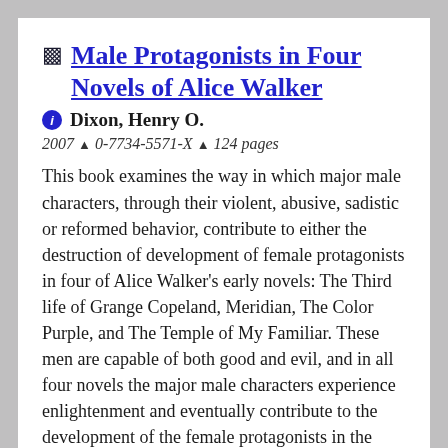Male Protagonists in Four Novels of Alice Walker
Dixon, Henry O.
2007 ▲ 0-7734-5571-X ▲ 124 pages
This book examines the way in which major male characters, through their violent, abusive, sadistic or reformed behavior, contribute to either the destruction of development of female protagonists in four of Alice Walker's early novels: The Third life of Grange Copeland, Meridian, The Color Purple, and The Temple of My Familiar. These men are capable of both good and evil, and in all four novels the major male characters experience enlightenment and eventually contribute to the development of the female protagonists in the novels. Further, the book examines some reasons why fiction writers may use male characters